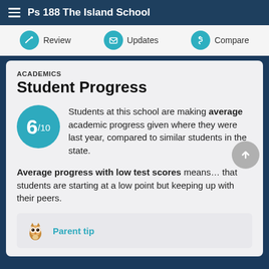Ps 188 The Island School
Review | Updates | Compare
ACADEMICS
Student Progress
Students at this school are making average academic progress given where they were last year, compared to similar students in the state.
Average progress with low test scores means... that students are starting at a low point but keeping up with their peers.
Parent tip